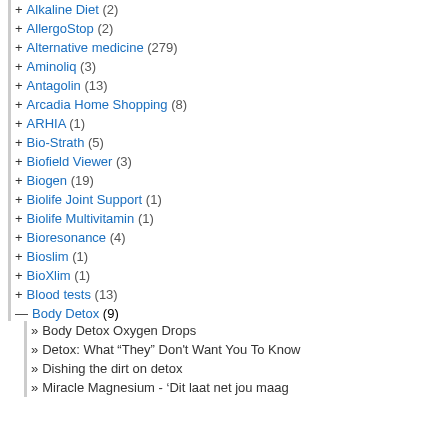+ Alkaline Diet (2)
+ AllergoStop (2)
+ Alternative medicine (279)
+ Aminoliq (3)
+ Antagolin (13)
+ Arcadia Home Shopping (8)
+ ARHIA (1)
+ Bio-Strath (5)
+ Biofield Viewer (3)
+ Biogen (19)
+ Biolife Joint Support (1)
+ Biolife Multivitamin (1)
+ Bioresonance (4)
+ Bioslim (1)
+ BioXlim (1)
+ Blood tests (13)
— Body Detox (9)
» Body Detox Oxygen Drops
» Detox: What “They” Don't Want You To Know
» Dishing the dirt on detox
» Miracle Magnesium - ‘Dit laat net jou maag
Post Comment
This site uses Akismet to reduce spam. L